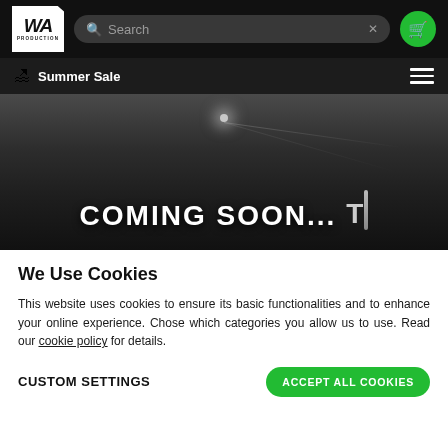WA Production — Search — Cart
🏖 Summer Sale
[Figure (screenshot): Coming Soon... with tuning fork icon on dark background]
We Use Cookies
This website uses cookies to ensure its basic functionalities and to enhance your online experience. Chose which categories you allow us to use. Read our cookie policy for details.
CUSTOM SETTINGS    ACCEPT ALL COOKIES